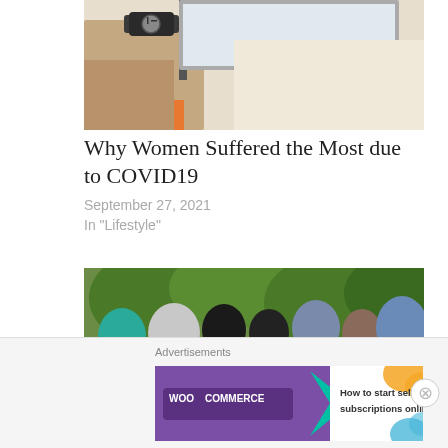[Figure (photo): Close-up of a person's arm with a watch near a computer monitor, reaching forward]
Why Women Suffered the Most due to COVID19
September 27, 2021
In "Lifestyle"
[Figure (photo): Group of women wearing hijabs seen from behind, standing near a fence with green trees in background]
Advertisements
[Figure (logo): WooCommerce advertisement banner: 'How to start selling subscriptions online']